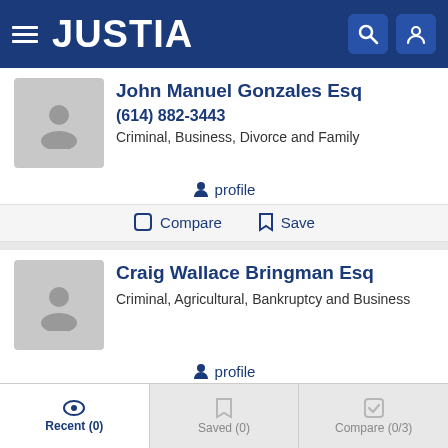JUSTIA
John Manuel Gonzales Esq
(614) 882-3443
Criminal, Business, Divorce and Family
profile
Compare   Save
Craig Wallace Bringman Esq
Criminal, Agricultural, Bankruptcy and Business
profile
Compare   Save
Recent (0)   Saved (0)   Compare (0/3)